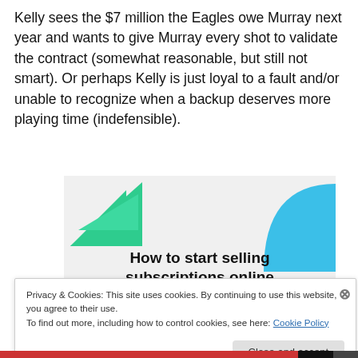Kelly sees the $7 million the Eagles owe Murray next year and wants to give Murray every shot to validate the contract (somewhat reasonable, but still not smart). Or perhaps Kelly is just loyal to a fault and/or unable to recognize when a backup deserves more playing time (indefensible).
[Figure (other): Advertisement banner with green triangle and blue quarter-circle shapes. Text reads: 'How to start selling subscriptions online']
Privacy & Cookies: This site uses cookies. By continuing to use this website, you agree to their use. To find out more, including how to control cookies, see here: Cookie Policy